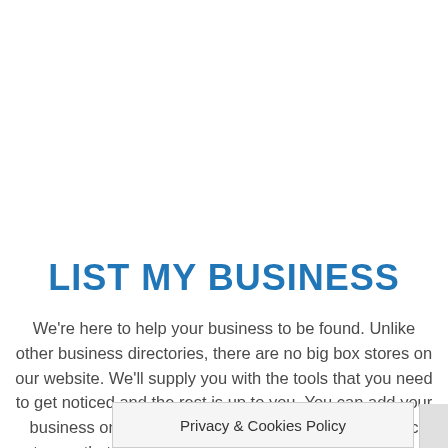LIST MY BUSINESS
We're here to help your business to be found. Unlike other business directories, there are no big box stores on our website. We'll supply you with the tools that you need to get noticed and the rest is up to you. You can add your business on our main website and also in the specific category that applies to your business. NOTE: Be sure to search for your business first, to see if we've already added it
Privacy & Cookies Policy